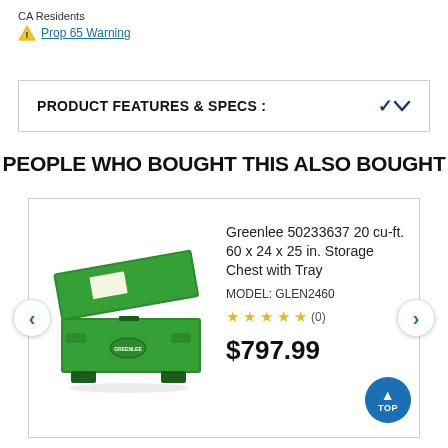CA Residents
⚠ Prop 65 Warning
PRODUCT FEATURES & SPECS :
PEOPLE WHO BOUGHT THIS ALSO BOUGHT
[Figure (photo): Green Greenlee storage chest tool box, open lid, with logo on side]
Greenlee 50233637 20 cu-ft. 60 x 24 x 25 in. Storage Chest with Tray
MODEL: GLEN2460
☆☆☆☆☆ (0)
$797.99